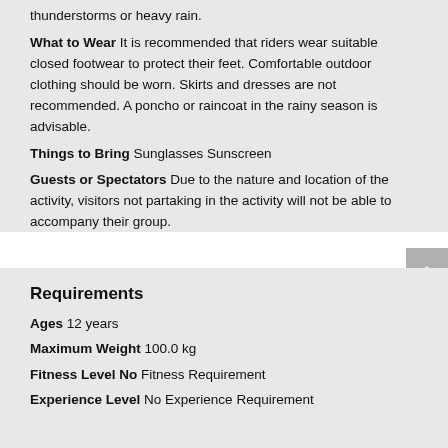thunderstorms or heavy rain.
What to Wear It is recommended that riders wear suitable closed footwear to protect their feet. Comfortable outdoor clothing should be worn. Skirts and dresses are not recommended. A poncho or raincoat in the rainy season is advisable.
Things to Bring Sunglasses Sunscreen
Guests or Spectators Due to the nature and location of the activity, visitors not partaking in the activity will not be able to accompany their group.
Requirements
Ages 12 years
Maximum Weight 100.0 kg
Fitness Level No Fitness Requirement
Experience Level No Experience Requirement